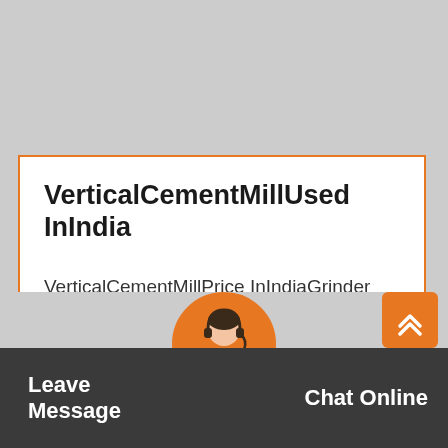VerticalCementMillUsed InIndia
VerticalCementMillPrice InIndiaGrinder Supplies.Vertical millfor cement grinding inindia. A cementmill(or finishmillin North American usage) is the equipment used to grind the hard, nodular clinker from the cement kiln into the fine grey powd…
Get Price
Leave Message   Chat Online